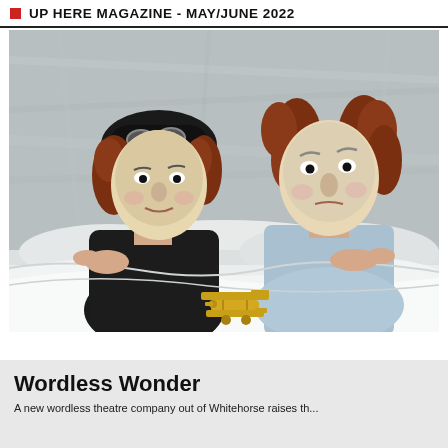UP HERE MAGAZINE - MAY/JUNE 2022
[Figure (photo): Two performers wearing expressive theatrical masks with painted faces — one with a pilot-style cap with goggles (left) and one with curly red hair (right) — peeking over white bedsheets. A small yellow toy biplane sits on the sheets in front of them. Background is crinkled gray fabric.]
Wordless Wonder
A new wordless theatre company out of Whitehorse raises the...